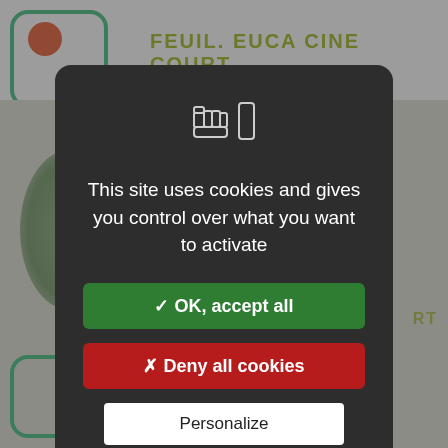[Figure (screenshot): Background website with green rounded icons, orange circle, plant leaves, and site title 'FEUIL. EUCA CINE COURT' in olive/yellow color]
[Figure (screenshot): Cookie consent modal dialog on dark background with two icons (hand and rectangle), message text, and three buttons: OK accept all (green), Deny all cookies (red), Personalize (white)]
This site uses cookies and gives you control over what you want to activate
✓ OK, accept all
✗ Deny all cookies
Personalize